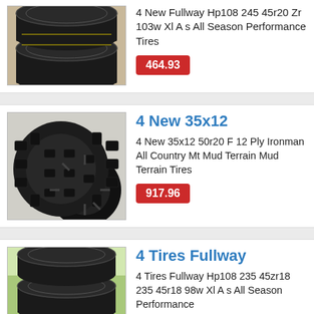[Figure (photo): Stack of four black car tires (all-season) on gravel background]
4 New Fullway Hp108 245 45r20 Zr 103w Xl A s All Season Performance Tires
464.93
[Figure (photo): Large aggressive mud terrain tire with chunky tread on black alloy wheel]
4 New 35x12
4 New 35x12 50r20 F 12 Ply Ironman All Country Mt Mud Terrain Mud Terrain Tires
917.96
[Figure (photo): Stack of four black all-season tires on grassy outdoor background]
4 Tires Fullway
4 Tires Fullway Hp108 235 45zr18 235 45r18 98w Xl A s All Season Performance